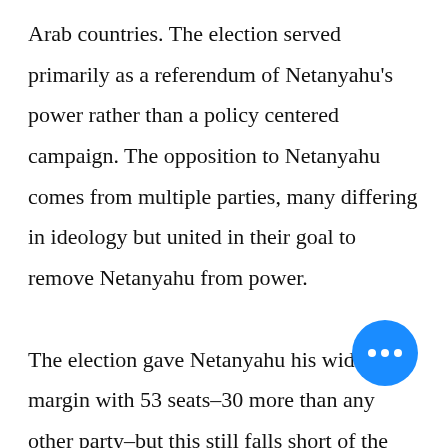Arab countries. The election served primarily as a referendum of Netanyahu's power rather than a policy centered campaign. The opposition to Netanyahu comes from multiple parties, many differing in ideology but united in their goal to remove Netanyahu from power.

The election gave Netanyahu his widest margin with 53 seats–30 more than any other party–but this still falls short of the majority. Addressing his supporters on March 31, Netanyahu said, "This evening we